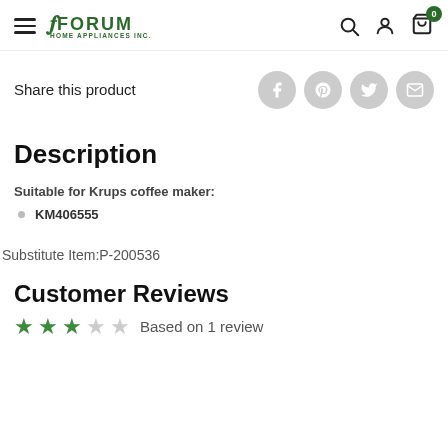Forum Home Appliances Inc. — navigation bar with hamburger menu, logo, search, account, and cart (0) icons
Share this product
Description
Suitable for Krups coffee maker:
KM406555
Substitute Item:P-200536
Customer Reviews
Based on 1 review